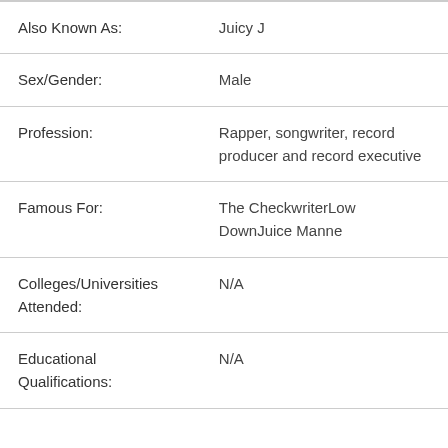| Field | Value |
| --- | --- |
| Also Known As: | Juicy J |
| Sex/Gender: | Male |
| Profession: | Rapper, songwriter, record producer and record executive |
| Famous For: | The CheckwriterLow DownJuice Manne |
| Colleges/Universities Attended: | N/A |
| Educational Qualifications: | N/A |